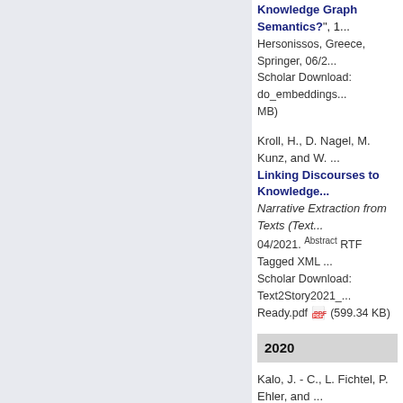Knowledge Graph Semantics?", 1... Hersonissos, Greece, Springer, 06/2... Scholar Download: do_embeddings... MB)
Kroll, H., D. Nagel, M. Kunz, and W. ...
Linking Discourses to Knowledge...
Narrative Extraction from Texts (Text...
04/2021. Abstract RTF Tagged XML Scholar Download: Text2Story2021_ Ready.pdf (599.34 KB)
2020
Kalo, J. - C., L. Fichtel, P. Ehler, and ...
Processing over Language Models...
Web Conference (ISWC), Athens, G...
Google Scholar Download: ISWC_2... knowlybert_slides_iswc2020.pdf
Kroll, H., D. Nagel, and W. - T. Balke...
Overlays on top of Knowledge Re...
Conceptual Modeling (ER), Vienna, ...